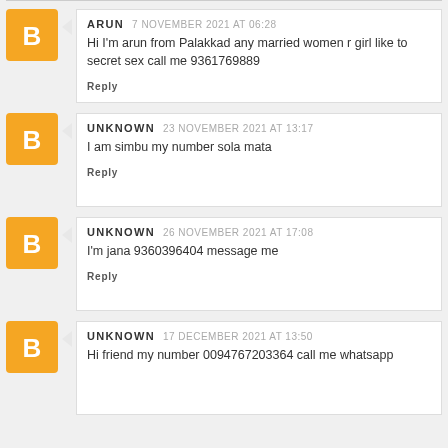ARUN 7 NOVEMBER 2021 AT 06:28
Hi I'm arun from Palakkad any married women r girl like to secret sex call me 9361769889
Reply
UNKNOWN 23 NOVEMBER 2021 AT 13:17
I am simbu my number sola mata
Reply
UNKNOWN 26 NOVEMBER 2021 AT 17:08
I'm jana 9360396404 message me
Reply
UNKNOWN 17 DECEMBER 2021 AT 13:50
Hi friend my number 0094767203364 call me whatsapp